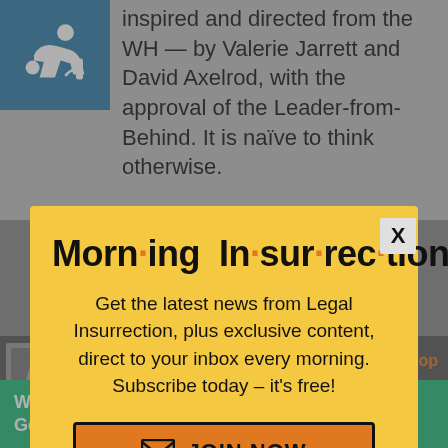inspired and directed from the WH — by Valerie Jarrett and David Axelrod, with the approval of the Leader-from-Behind. It is naïve to think otherwise.
[Figure (screenshot): Modal popup with yellow background showing 'Morning Insurrection' newsletter signup. Title reads 'Morn·ing In·sur·rec·tion' with orange dots between syllables. Body text: 'Get the latest news from Legal Insurrection, plus exclusive content, direct to your inbox every morning. Subscribe today – it's free!' with an orange JOIN NOW button. An X close button appears in the top-right corner.]
am
Back to top
[Figure (screenshot): Green Fiverr advertisement banner reading 'Working from home? Get your projects done on fiverr' with white text.]